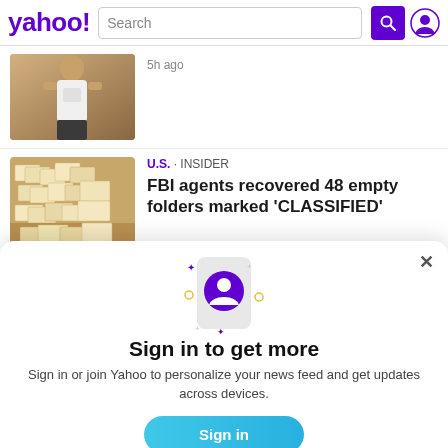[Figure (screenshot): Yahoo homepage header with logo, search bar, search button, and user icon]
5h ago
[Figure (photo): Basketball player in white jersey]
U.S. · INSIDER
FBI agents recovered 48 empty folders marked 'CLASSIFIED'
[Figure (illustration): Phone with user profile icon illustration with sparkles]
Sign in to get more
Sign in or join Yahoo to personalize your news feed and get updates across devices.
Sign in
Sign up